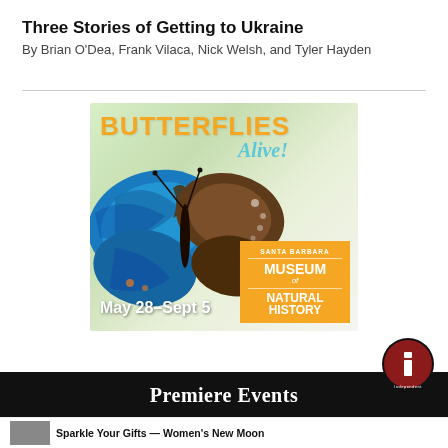Three Stories of Getting to Ukraine
By Brian O'Dea, Frank Vilaca, Nick Welsh, and Tyler Hayden
[Figure (illustration): Advertisement for 'Butterflies Alive!' exhibit at the Santa Barbara Museum of Natural History, May 28–Sept 5, featuring a large blue morpho butterfly on a green background with orange and white text.]
Premiere Events
[Figure (logo): Santa Barbara Independent circular logo in dark red and black]
Sparkle Your Gifts — Women's New Moon